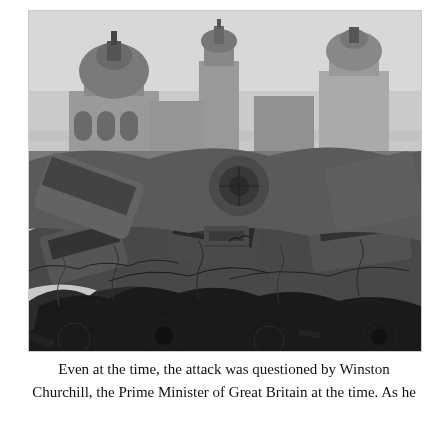[Figure (photo): Black and white photograph showing a large pile of destroyed and wrecked vehicles, cars, bicycles, and machinery heaped together in rubble. In the background, ornate buildings with domes and towers are visible against a hazy sky, suggesting a bombed or war-damaged European city.]
Even at the time, the attack was questioned by Winston Churchill, the Prime Minister of Great Britain at the time. As he